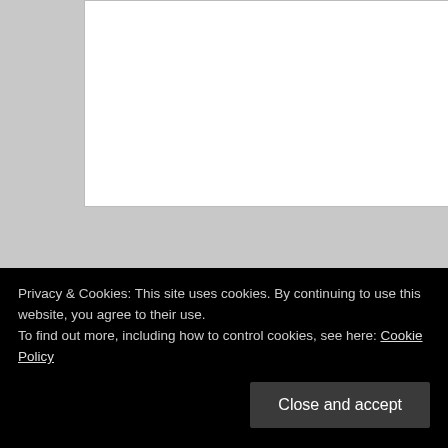[Figure (screenshot): A white textarea input field with a resize handle in the bottom-right corner, on a light grey background.]
Name *
[Figure (screenshot): A white single-line text input field for the Name field.]
Privacy & Cookies: This site uses cookies. By continuing to use this website, you agree to their use.
To find out more, including how to control cookies, see here: Cookie Policy
Close and accept